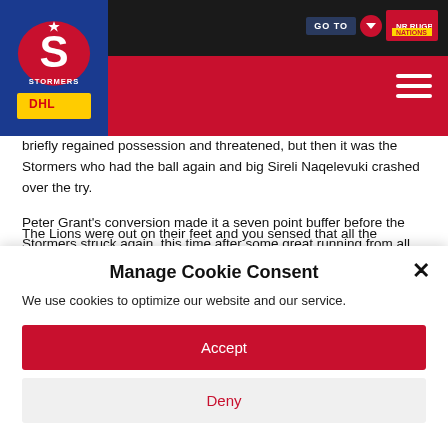[Figure (logo): Stormers rugby team logo on blue background with DHL sponsor logo below, navigation bar with GO TO button and hamburger menu]
briefly regained possession and threatened, but then it was the Stormers who had the ball again and big Sireli Naqelevuki crashed over the try.
Peter Grant's conversion made it a seven point buffer before the Stormers struck again, this time after some great running from all the Stormers, but particularly big lock replacement Ross Skeate, and reserve loose-forward Robbie Diack was over in the corner.
The Lions were out on their feet and you sensed that all the Stormers
Manage Cookie Consent
We use cookies to optimize our website and our service.
Accept
Deny